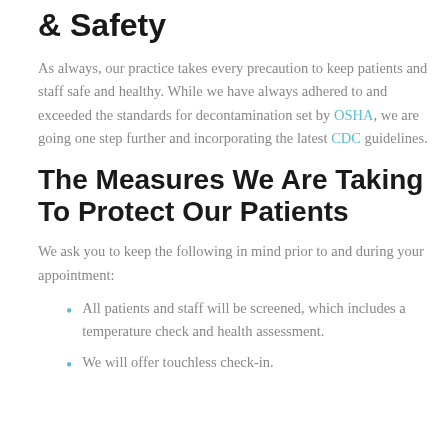& Safety
As always, our practice takes every precaution to keep patients and staff safe and healthy. While we have always adhered to and exceeded the standards for decontamination set by OSHA, we are going one step further and incorporating the latest CDC guidelines.
The Measures We Are Taking To Protect Our Patients
We ask you to keep the following in mind prior to and during your appointment:
All patients and staff will be screened, which includes a temperature check and health assessment.
We will offer touchless check-in.